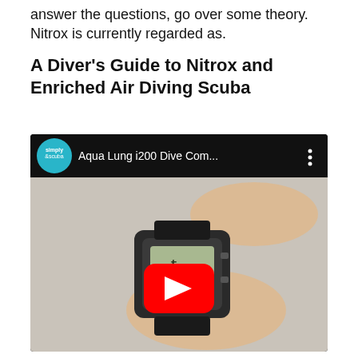answer the questions, go over some theory. Nitrox is currently regarded as.
A Diver's Guide to Nitrox and Enriched Air Diving Scuba
[Figure (screenshot): YouTube video embed showing 'Aqua Lung i200 Dive Com...' by Simply Scuba channel with a red play button over a video thumbnail showing hands holding a dive computer watch.]